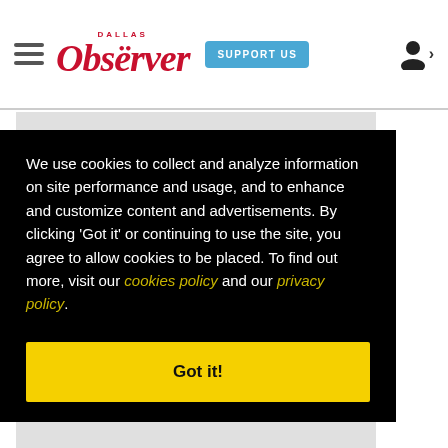Dallas Observer — SUPPORT US
[Figure (photo): Partial view of motorcycle engine/wheel close-up photo, partially obscured by cookie consent overlay]
We use cookies to collect and analyze information on site performance and usage, and to enhance and customize content and advertisements. By clicking 'Got it' or continuing to use the site, you agree to allow cookies to be placed. To find out more, visit our cookies policy and our privacy policy.
Got it!